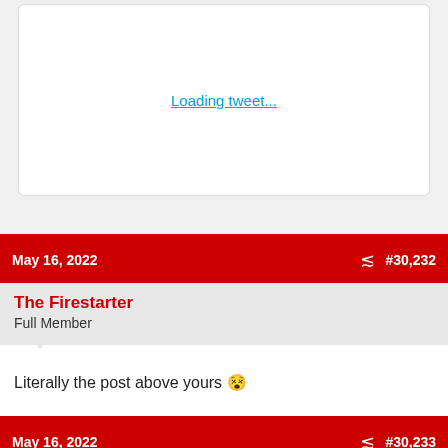Loading tweet...
May 16, 2022  #30,232
The Firestarter
Full Member
Literally the post above yours 😵
May 16, 2022  #30,233